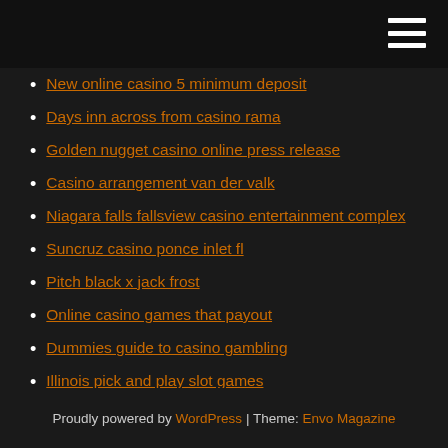New online casino 5 minimum deposit
Days inn across from casino rama
Golden nugget casino online press release
Casino arrangement van der valk
Niagara falls fallsview casino entertainment complex
Suncruz casino ponce inlet fl
Pitch black x jack frost
Online casino games that payout
Dummies guide to casino gambling
Illinois pick and play slot games
Petit casino lyon 5 point du jour
Proudly powered by WordPress | Theme: Envo Magazine